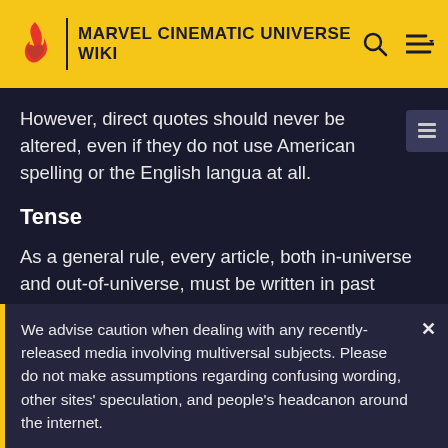MARVEL CINEMATIC UNIVERSE WIKI
However, direct quotes should never be altered, even if they do not use American spelling or the English language at all.
Tense
As a general rule, every article, both in-universe and out-of-universe, must be written in past tense, as they are considered to narrate past events. Though there could be some exceptions, such as actors or crew members articles about Upcoming content, the initial description of
We advise caution when dealing with any recently-released media involving multiversal subjects. Please do not make assumptions regarding confusing wording, other sites' speculation, and people's headcanon around the internet.